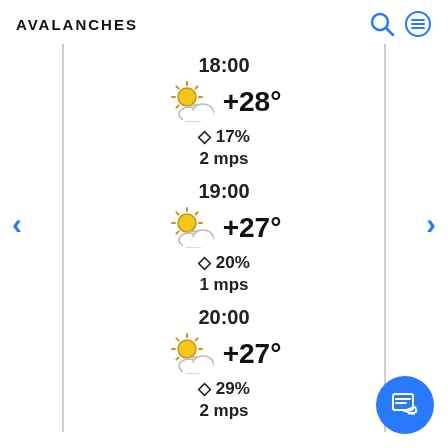AVALANCHES
18:00
+28°
◇ 17%
2 mps
19:00
+27°
◇ 20%
1 mps
20:00
+27°
◇ 29%
2 mps